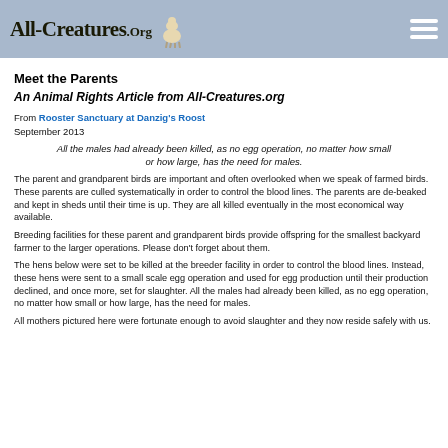All-Creatures.org
Meet the Parents
An Animal Rights Article from All-Creatures.org
From Rooster Sanctuary at Danzig's Roost
September 2013
All the males had already been killed, as no egg operation, no matter how small or how large, has the need for males.
The parent and grandparent birds are important and often overlooked when we speak of farmed birds. These parents are culled systematically in order to control the blood lines. The parents are de-beaked and kept in sheds until their time is up. They are all killed eventually in the most economical way available.
Breeding facilities for these parent and grandparent birds provide offspring for the smallest backyard farmer to the larger operations. Please don't forget about them.
The hens below were set to be killed at the breeder facility in order to control the blood lines. Instead, these hens were sent to a small scale egg operation and used for egg production until their production declined, and once more, set for slaughter. All the males had already been killed, as no egg operation, no matter how small or how large, has the need for males.
All mothers pictured here were fortunate enough to avoid slaughter and they now reside safely with us.